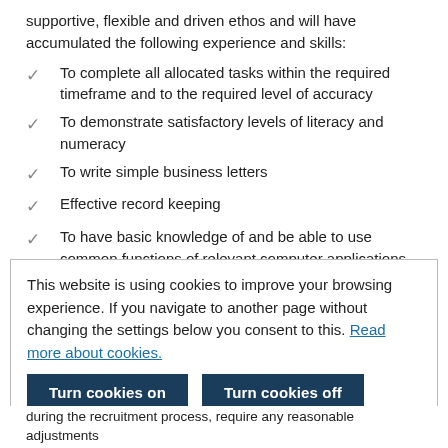supportive, flexible and driven ethos and will have accumulated the following experience and skills:
To complete all allocated tasks within the required timeframe and to the required level of accuracy
To demonstrate satisfactory levels of literacy and numeracy
To write simple business letters
Effective record keeping
To have basic knowledge of and be able to use common functions of relevant computer applications with appropriate training
Demonstrate high levels of data accuracy
Demonstrate a conscientious, 'can-do' attitude
Be client focussed
This website is using cookies to improve your browsing experience. If you navigate to another page without changing the settings below you consent to this. Read more about cookies.
during the recruitment process, require any reasonable adjustments